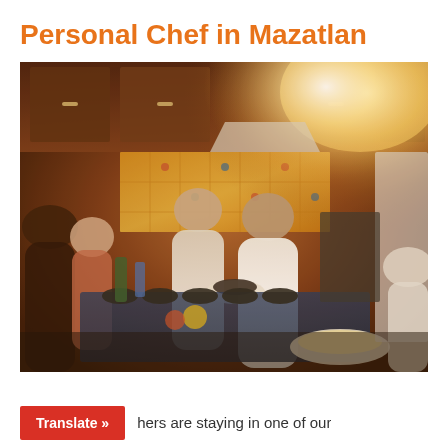Personal Chef in Mazatlan
[Figure (photo): Photo of people gathered in a Mexican kitchen with wood cabinets, colorful tile backsplash, two people in white shirts at center holding bowls, others around the counter, warm lighting from upper right]
Translate »
hers are staying in one of our